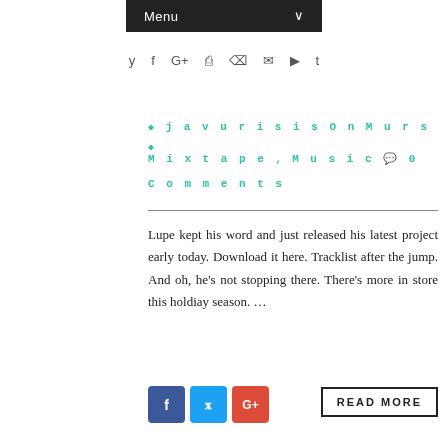Menu ∨
y f G+ ☎ ⊃ ✉ ▶ t
javurisisOnMurs 💬 Mixtape , Music 💬 0 Comments
Lupe kept his word and just released his latest project early today. Download it here. Tracklist after the jump. And oh, he's not stopping there. There's more in store this holdiay season. ...
f  t  G+  READ MORE